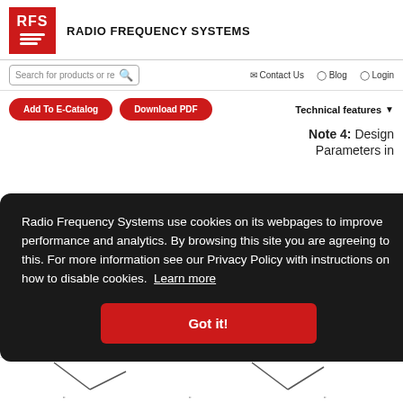[Figure (logo): RFS Radio Frequency Systems logo — red square with white RFS text and white wave lines]
RADIO FREQUENCY SYSTEMS
[Figure (screenshot): Navigation bar with search box, Contact Us, Blog, Login links]
[Figure (screenshot): Action bar with Add To E-Catalog and Download PDF red buttons, and Technical features dropdown]
Note 4: Design Parameters in
Radio Frequency Systems use cookies on its webpages to improve performance and analytics. By browsing this site you are agreeing to this. For more information see our Privacy Policy with instructions on how to disable cookies. Learn more
[Figure (screenshot): Got it! button in red on cookie consent overlay]
My e-catalog
ver
ns.
ill a